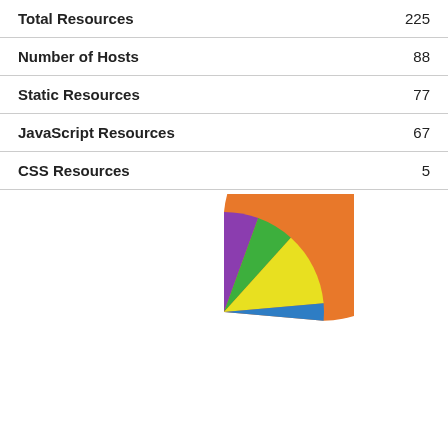| Metric | Value |
| --- | --- |
| Total Resources | 225 |
| Number of Hosts | 88 |
| Static Resources | 77 |
| JavaScript Resources | 67 |
| CSS Resources | 5 |
[Figure (pie-chart): Resource breakdown pie chart]